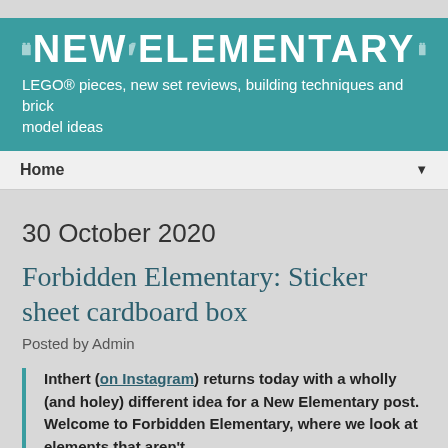NEW ELEMENTARY — LEGO® pieces, new set reviews, building techniques and brick model ideas
Home
30 October 2020
Forbidden Elementary: Sticker sheet cardboard box
Posted by Admin
Inthert (on Instagram) returns today with a wholly (and holey) different idea for a New Elementary post. Welcome to Forbidden Elementary, where we look at elements that aren't